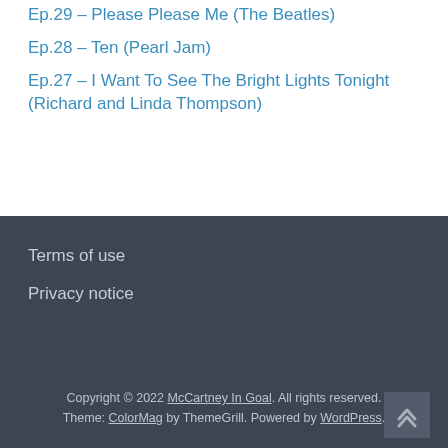Ep.29 – Please Please Me (The Beatles)
Ep.28 – Ten (Pearl Jam)
Ep.27 – I Want To See The Bright Lights Tonight (Richard and Linda Thompson)
Terms of use
Privacy notice
Copyright © 2022 McCartney In Goal. All rights reserved. Theme: ColorMag by ThemeGrill. Powered by WordPress.